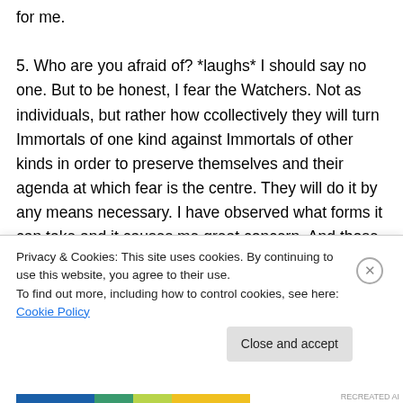for me.

5. Who are you afraid of? *laughs* I should say no one. But to be honest, I fear the Watchers. Not as individuals, but rather how ccollectively they will turn Immortals of one kind against Immortals of other kinds in order to preserve themselves and their agenda at which fear is the centre. They will do it by any means necessary. I have observed what forms it can take and it causes me great concern. And those whom they
Privacy & Cookies: This site uses cookies. By continuing to use this website, you agree to their use.
To find out more, including how to control cookies, see here: Cookie Policy